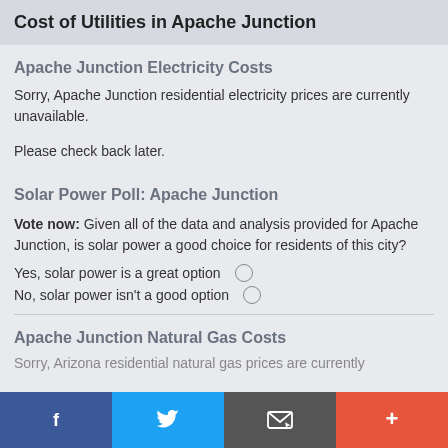Cost of Utilities in Apache Junction
Apache Junction Electricity Costs
Sorry, Apache Junction residential electricity prices are currently unavailable.
Please check back later.
Solar Power Poll: Apache Junction
Vote now: Given all of the data and analysis provided for Apache Junction, is solar power a good choice for residents of this city?
Yes, solar power is a great option
No, solar power isn't a good option
Apache Junction Natural Gas Costs
Sorry, Arizona residential natural gas prices are currently
f  Twitter  Email  +